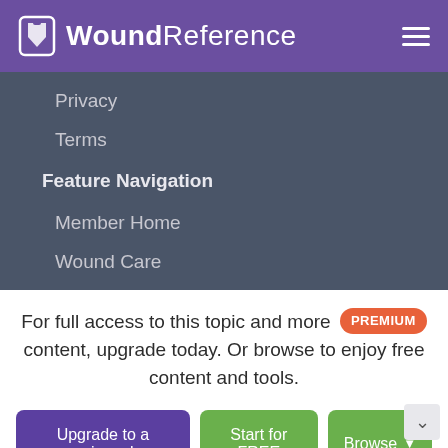WoundReference
Privacy
Terms
Feature Navigation
Member Home
Wound Care
Hyperbaric (HBO)
CME/CE Credits
Product Navigator
For full access to this topic and more PREMIUM content, upgrade today. Or browse to enjoy free content and tools.
Upgrade to a premium plan | Start for FREE | Browse
Already a member? Sign in